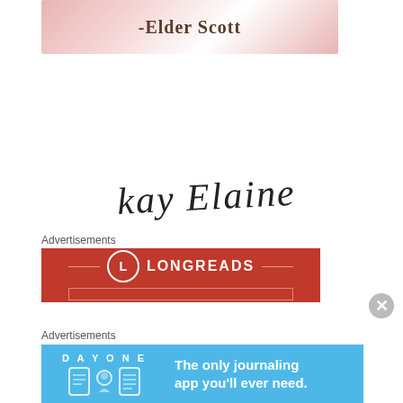[Figure (illustration): Banner image with floral/watercolor pink background and bold text reading '-Elder Scott']
[Figure (illustration): Handwritten cursive signature reading 'kay Elaine']
Advertisements
[Figure (illustration): Red Longreads advertisement banner with circle L logo and LONGREADS text in white]
Advertisements
[Figure (illustration): Light blue Day One journaling app advertisement with text 'DAY ONE - The only journaling app you'll ever need.']